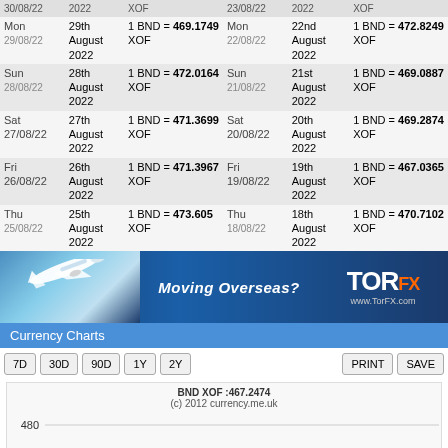| Day | Date | Rate | Day | Date | Rate |
| --- | --- | --- | --- | --- | --- |
| 30/08/22 | 2022 | XOF | 23/08/22 | 2022 | XOF |
| Mon
29/08/22 | 29th August
2022 | 1 BND = 469.1749
XOF | Mon
22/08/22 | 22nd August
2022 | 1 BND = 472.8249
XOF |
| Sun
28/08/22 | 28th August
2022 | 1 BND = 472.0164
XOF | Sun
21/08/22 | 21st August
2022 | 1 BND = 469.0887
XOF |
| Sat 27/08/22 | 27th August
2022 | 1 BND = 471.3699
XOF | Sat 20/08/22 | 20th August
2022 | 1 BND = 469.2874
XOF |
| Fri 26/08/22 | 26th August
2022 | 1 BND = 471.3967
XOF | Fri 19/08/22 | 19th August
2022 | 1 BND = 467.0365
XOF |
| Thu
25/08/22 | 25th August
2022 | 1 BND = 473.605
XOF | Thu
18/08/22 | 18th August
2022 | 1 BND = 470.7102
XOF |
[Figure (illustration): TorFX advertisement banner with airplane and Moving Overseas? text]
Currency Charts
[Figure (continuous-plot): BND XOF currency chart showing rate around 467.2474, with y-axis showing values 480 and 475, copyright 2012 currency.me.uk]